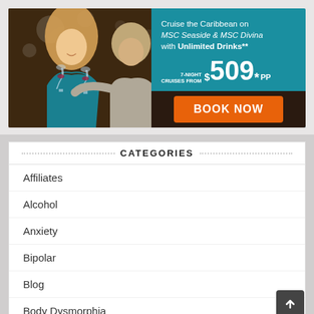[Figure (photo): Advertisement for MSC Cruises showing a couple clinking wine glasses with cruise promotional text: 'Cruise the Caribbean on MSC Seaside & MSC Divina with Unlimited Drinks** 7-NIGHT CRUISES FROM $509* PP' and a BOOK NOW button]
CATEGORIES
Affiliates
Alcohol
Anxiety
Bipolar
Blog
Body Dysmorphia